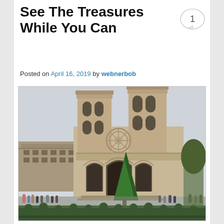See The Treasures While You Can
Posted on April 16, 2019 by webnerbob
[Figure (photo): Photograph of Notre-Dame Cathedral in Paris, showing the Gothic façade with two towers, rose window, three portals, and a Christmas tree in the foreground. People and hedges visible at the base.]